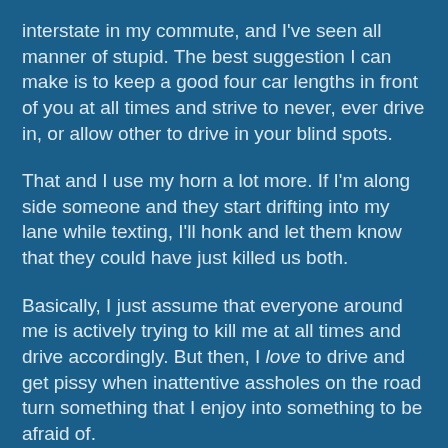interstate in my commute, and I've seen all manner of stupid. The best suggestion I can make is to keep a good four car lengths in front of you at all times and strive to never, ever drive in, or allow other to drive in your blind spots.
That and I use my horn a lot more. If I'm along side someone and they start drifting into my lane while texting, I'll honk and let them know that they could have just killed us both.
Basically, I just assume that everyone around me is actively trying to kill me at all times and drive accordingly. But then, I love to drive and get pissy when inattentive assholes on the road turn something that I enjoy into something to be afraid of.
posted by quin at 8:06 AM on August 18, 2009